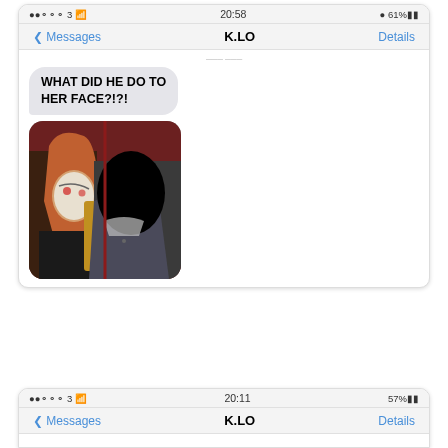[Figure (screenshot): iPhone iMessage screenshot showing conversation with K.LO at 20:58, 61% battery. Message bubble reads 'WHAT DID HE DO TO HER FACE?!?!' followed by a photo of two people where one face is blacked out.]
[Figure (screenshot): Second iPhone iMessage screenshot (partial) showing conversation with K.LO at 20:11, 57% battery.]